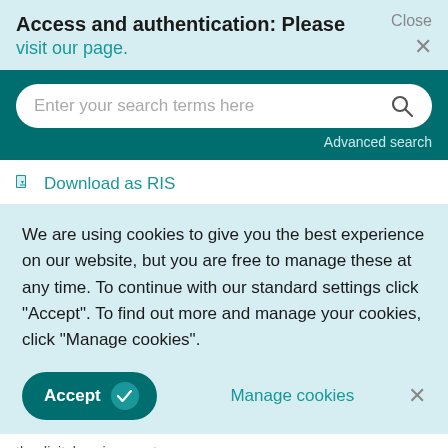Access and authentication: Please visit our page.
[Figure (screenshot): Search bar with placeholder text 'Enter your search terms here' and a magnifying glass icon, on a teal background with 'Advanced search' link below]
Download as RIS
We are using cookies to give you the best experience on our website, but you are free to manage these at any time. To continue with our standard settings click "Accept". To find out more and manage your cookies, click "Manage cookies".
Accept  Manage cookies  ×
the digital environment
Marek Deja et al., Aslib Journal of Information Management, 2018